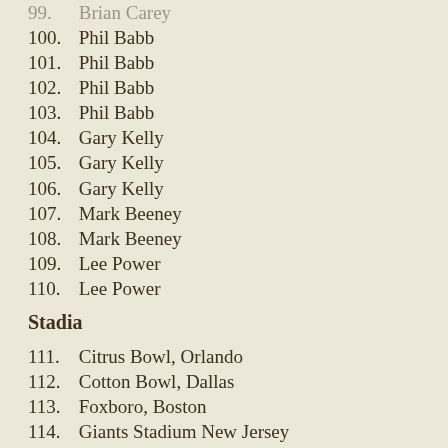99.  Brian Carey
100.  Phil Babb
101.  Phil Babb
102.  Phil Babb
103.  Phil Babb
104.  Gary Kelly
105.  Gary Kelly
106.  Gary Kelly
107.  Mark Beeney
108.  Mark Beeney
109.  Lee Power
110.  Lee Power
Stadia
111.  Citrus Bowl, Orlando
112.  Cotton Bowl, Dallas
113.  Foxboro, Boston
114.  Giants Stadium New Jersey
115.  Pontiac Silverdome, Detroit
116.  RFK Stadium, Washington
117.  Rosebowl, Pasadena